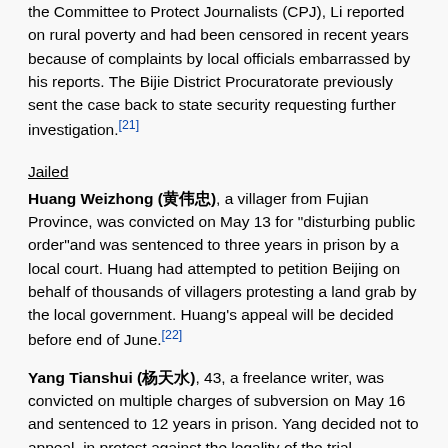the Committee to Protect Journalists (CPJ), Li reported on rural poverty and had been censored in recent years because of complaints by local officials embarrassed by his reports. The Bijie District Procuratorate previously sent the case back to state security requesting further investigation.[21]
Jailed
Huang Weizhong (黄伟忠), a villager from Fujian Province, was convicted on May 13 for "disturbing public order"and was sentenced to three years in prison by a local court. Huang had attempted to petition Beijing on behalf of thousands of villagers protesting a land grab by the local government. Huang's appeal will be decided before end of June.[22]
Yang Tianshui (杨天水), 43, a freelance writer, was convicted on multiple charges of subversion on May 16 and sentenced to 12 years in prison. Yang decided not to appeal, in protest against the legality of the trial. According to his lawyer, Yang was accused of posting articles on foreign Web sites, receiving money from abroad and helping a would-be opposition party. Yang had previously served a 10-year jail term for criticizing the 1989 crackdown between 1990 and 2000.[23]
Twelve residents of Guangdong's Dongzhou Village were jailed for up to seven years on May 24 for their roles in a demonstration in December 2005, which ended with the death of three villagers after